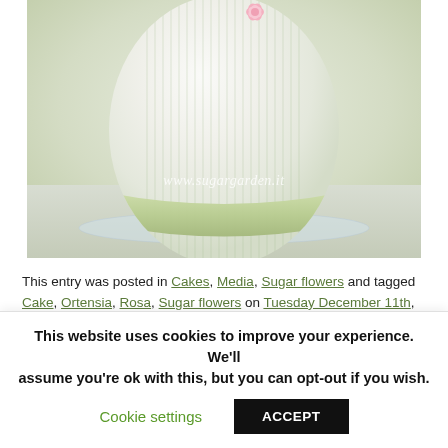[Figure (photo): A white and light green fondant cake on a glass plate, decorated with vertical stripe texture and a pink flower on top. Watermark reads www.sugargarden.it]
This entry was posted in Cakes, Media, Sugar flowers and tagged Cake, Ortensia, Rosa, Sugar flowers on Tuesday December 11th,
This website uses cookies to improve your experience. We'll assume you're ok with this, but you can opt-out if you wish.